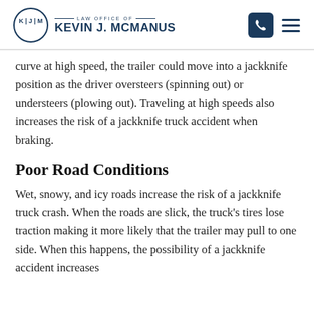Law Office of Kevin J. McManus
curve at high speed, the trailer could move into a jackknife position as the driver oversteers (spinning out) or understeers (plowing out). Traveling at high speeds also increases the risk of a jackknife truck accident when braking.
Poor Road Conditions
Wet, snowy, and icy roads increase the risk of a jackknife truck crash. When the roads are slick, the truck's tires lose traction making it more likely that the trailer may pull to one side. When this happens, the possibility of a jackknife accident increases